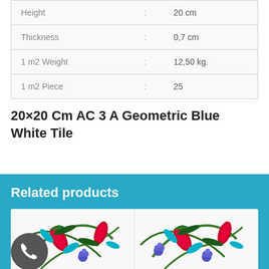| Property | : | Value |
| --- | --- | --- |
| Height | : | 20 cm |
| Thickness | : | 0,7 cm |
| 1 m2 Weight | : | 12,50 kg. |
| 1 m2 Piece | : | 25 |
20×20 Cm AC 3 A Geometric Blue White Tile
Related products
[Figure (photo): Decorative ceramic tiles with colorful floral and tulip patterns in red, blue, green and white on a white background, showing two tiles side by side]